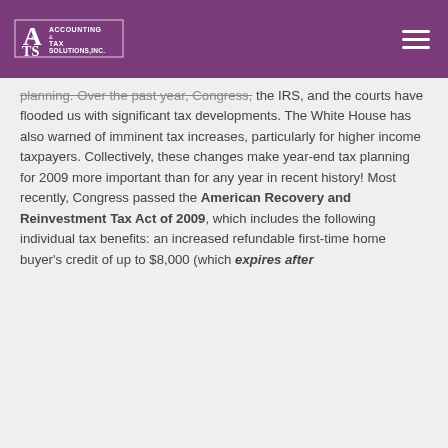Accounting & Tax Solutions, Inc.
planning. Over the past year, Congress, the IRS, and the courts have flooded us with significant tax developments. The White House has also warned of imminent tax increases, particularly for higher income taxpayers. Collectively, these changes make year-end tax planning for 2009 more important than for any year in recent history! Most recently, Congress passed the American Recovery and Reinvestment Tax Act of 2009, which includes the following individual tax benefits: an increased refundable first-time home buyer's credit of up to $8,000 (which expires after